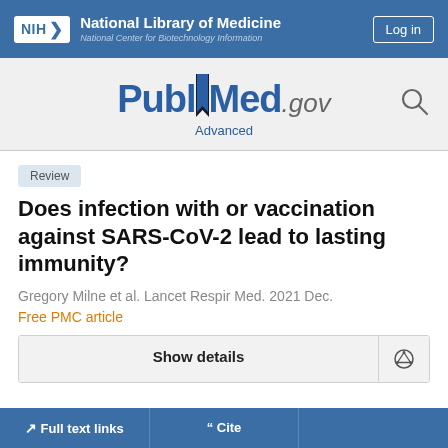National Library of Medicine — National Center for Biotechnology Information
[Figure (logo): PubMed.gov logo with search icon and Advanced link]
Review
Does infection with or vaccination against SARS-CoV-2 lead to lasting immunity?
Gregory Milne et al. Lancet Respir Med. 2021 Dec.
Free PMC article
Show details
Full text links | Cite